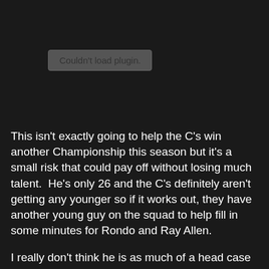[Figure (other): Video or media plugin area showing 'Couldn't load plugin.' error message on a dark background]
This isn't exactly going to help the C's win another Championship this season but it's a small risk that could pay off without losing much talent.  He's only 26 and the C's definitely aren't getting any younger so if it works out, they have another young guy on the squad to help fill in some minutes for Rondo and Ray Allen.
I really don't think he is as much of a head case as everyone makes him out to be but at the same time he could be a ticking time bomb.  I guess we will find out. I feel like being